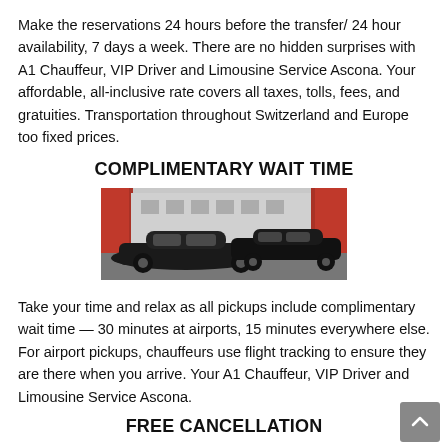Make the reservations 24 hours before the transfer/ 24 hour availability, 7 days a week. There are no hidden surprises with A1 Chauffeur, VIP Driver and Limousine Service Ascona. Your affordable, all-inclusive rate covers all taxes, tolls, fees, and gratuities. Transportation throughout Switzerland and Europe too fixed prices.
COMPLIMENTARY WAIT TIME
[Figure (photo): Two black luxury sedans parked in front of a building with red pillars, viewed from the side.]
Take your time and relax as all pickups include complimentary wait time — 30 minutes at airports, 15 minutes everywhere else. For airport pickups, chauffeurs use flight tracking to ensure they are there when you arrive. Your A1 Chauffeur, VIP Driver and Limousine Service Ascona.
FREE CANCELLATION